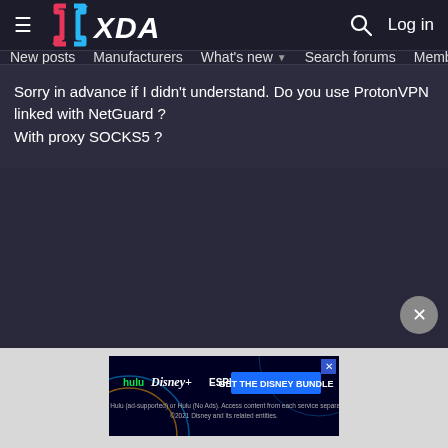XDA Forums navigation header with hamburger menu, XDA logo, search icon, and Log in link
New posts  Manufacturers  What's new  Search forums  Members  >
Sorry in advance if I didn't understand. Do you use ProtonVPN linked with NetGuard ?
With proxy SOCKS5 ?
[Figure (screenshot): Disney Bundle advertisement banner showing Hulu, Disney+, and ESPN+ logos with 'GET THE DISNEY BUNDLE' call to action button. Fine print: Incl. Hulu (ad-supported) or Hulu (No Ads). Access content from each service separately. ©2021 Disney and its related entities.]